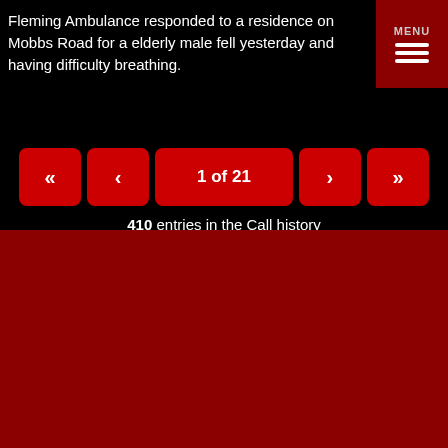Fleming Ambulance responded to a residence on Mobbs Road for a elderly male fell yesterday and having difficulty breathing.
[Figure (infographic): Pagination controls: first («), previous (<), current page indicator '1 of 21', next (>), last (») buttons in red]
410 entries in the Call history
Call volume
2022 total
In Town Calls
109
Mutual Aid
89
Total
198